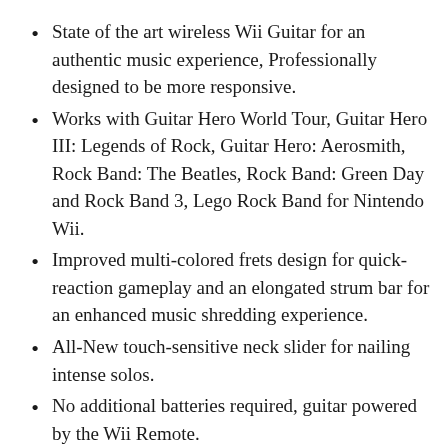State of the art wireless Wii Guitar for an authentic music experience, Professionally designed to be more responsive.
Works with Guitar Hero World Tour, Guitar Hero III: Legends of Rock, Guitar Hero: Aerosmith, Rock Band: The Beatles, Rock Band: Green Day and Rock Band 3, Lego Rock Band for Nintendo Wii.
Improved multi-colored frets design for quick-reaction gameplay and an elongated strum bar for an enhanced music shredding experience.
All-New touch-sensitive neck slider for nailing intense solos.
No additional batteries required, guitar powered by the Wii Remote.